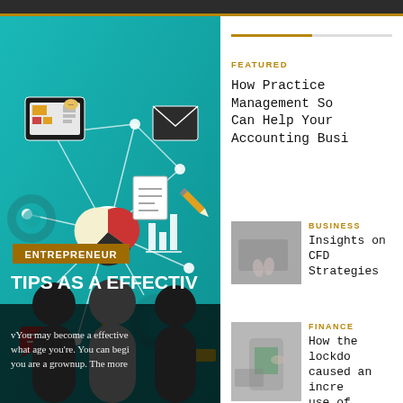[Figure (infographic): Entrepreneur infographic with teal background showing network nodes connected by white lines, with icons: tablet/dashboard, email envelope, gear, document, bar chart, pencil, pie chart, person figure, speech bubble. Silhouette of people at bottom. Brown 'ENTREPRENEUR' badge.]
TIPS AS A EFFECTIV
vYou may become a effective what age you're. You can begi you are a grownup. The more
FEATURED
How Practice Management So Can Help Your Accounting Bus
BUSINESS
[Figure (photo): Blurred photo of person typing on laptop keyboard]
Insights on CFD Strategies
FINANCE
[Figure (photo): Blurred photo of person holding smartphone with green screen, credit card visible]
How the lockdo caused an incre use of digital pa in India